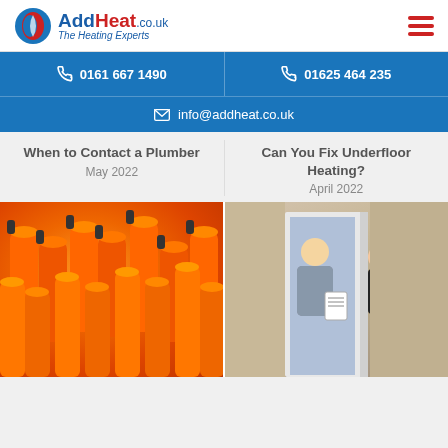AddHeat.co.uk - The Heating Experts
0161 667 1490
01625 464 235
info@addheat.co.uk
When to Contact a Plumber
May 2022
Can You Fix Underfloor Heating?
April 2022
[Figure (photo): Orange gas cylinders/tanks stacked together]
[Figure (photo): Heating engineer/plumber handing paperwork to a family at their door]